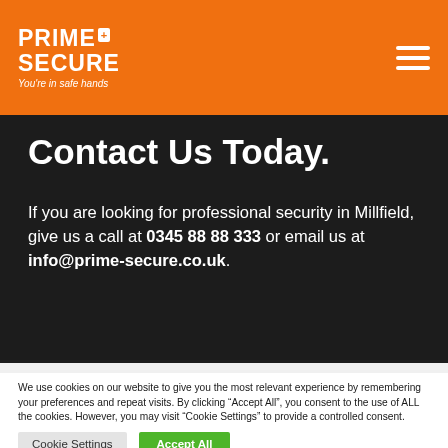PRIME+ SECURE You're in safe hands
Contact Us Today.
If you are looking for professional security in Millfield, give us a call at 0345 88 88 333 or email us at info@prime-secure.co.uk.
We use cookies on our website to give you the most relevant experience by remembering your preferences and repeat visits. By clicking "Accept All", you consent to the use of ALL the cookies. However, you may visit "Cookie Settings" to provide a controlled consent.
Cookie Settings | Accept All